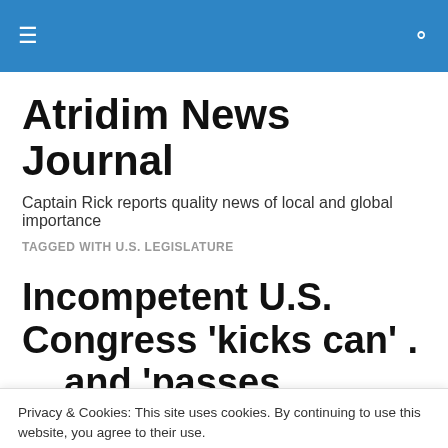≡  🔍
Atridim News Journal
Captain Rick reports quality news of local and global importance
TAGGED WITH U.S. LEGISLATURE
Incompetent U.S. Congress 'kicks can' . . . and 'passes
Privacy & Cookies: This site uses cookies. By continuing to use this website, you agree to their use.
To find out more, including how to control cookies, see here: Cookie Policy
Federal Government thru Dec